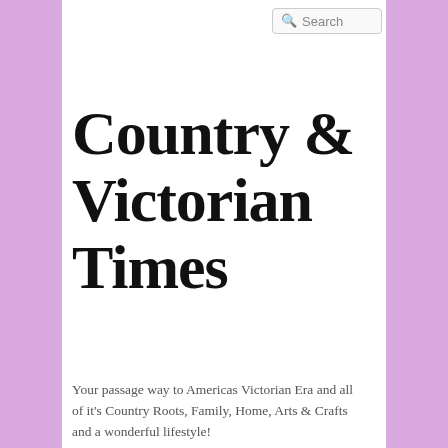Search
Country & Victorian Times
Your passage way to Americas Victorian Era and all of it's Country Roots, Family, Home, Arts & Crafts and a wonderful lifestyle!
[Figure (photo): Close-up photo of a white daisy flower with a yellow and green center, on a light background]